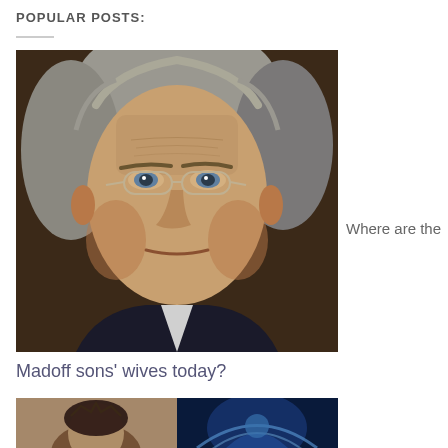POPULAR POSTS:
[Figure (photo): Close-up portrait photo of Bernie Madoff, an elderly man with grey hair wearing glasses and a dark suit]
Where are the
Madoff sons' wives today?
[Figure (photo): Two partial images: left shows a woman wearing a tiara/crown, right shows a blue-toned dramatic image]